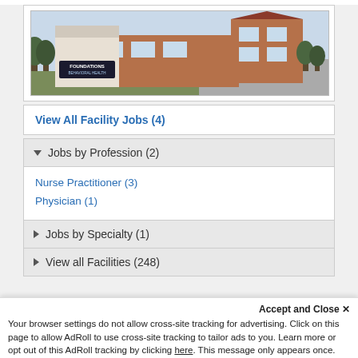[Figure (photo): Exterior photo of Foundations Behavioral Health building, a brick building with red roof, sign in foreground, parking lot and bare trees visible]
View All Facility Jobs (4)
▼ Jobs by Profession (2)
Nurse Practitioner (3)
Physician (1)
▶ Jobs by Specialty (1)
▶ View all Facilities (248)
Accept and Close ×
Your browser settings do not allow cross-site tracking for advertising. Click on this page to allow AdRoll to use cross-site tracking to tailor ads to you. Learn more or opt out of this AdRoll tracking by clicking here. This message only appears once.